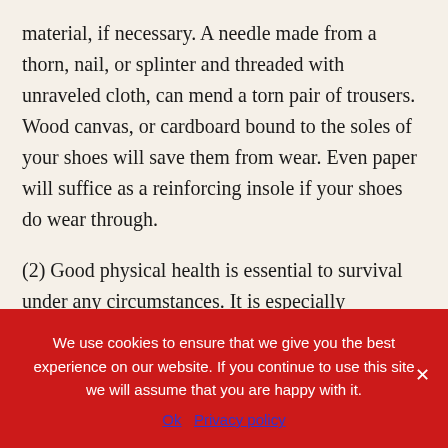material, if necessary. A needle made from a thorn, nail, or splinter and threaded with unraveled cloth, can mend a torn pair of trousers. Wood canvas, or cardboard bound to the soles of your shoes will save them from wear. Even paper will suffice as a reinforcing insole if your shoes do wear through.
(2) Good physical health is essential to survival under any circumstances. It is especially important in a POW camp where living conditions are crowded and food and shelter inadequate. This means that you must use every device possible to keep yourself well.
We use cookies to ensure that we give you the best experience on our website. If you continue to use this site we will assume that you are happy with it.
Ok   Privacy policy